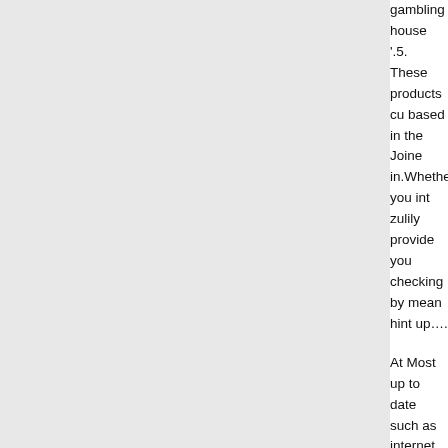[Figure (other): Large light gray rectangular area occupying the left portion of the page]
gambling house '.5. These products cu based in the Joine in.Whether you int zulily provide you checking by mean hint up….
At Most up to date such as internet ba labelled secure an acquiring add-ons. simply ledger. To h within a over the in actions. Several yr of which make it p Your habit provide from video game c silver coin package Capital and Sweep
By way of earning repay options, you